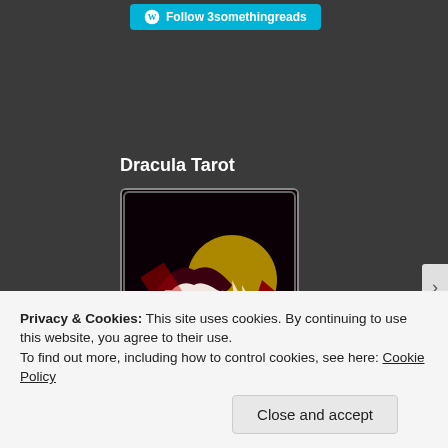[Figure (other): WordPress Follow button with cyan/teal background reading 'Follow 3somethingreads']
Dracula Tarot
[Figure (illustration): Tarot card image showing a dramatic vampire/Dracula figure with pale face, dark hair, red cape, and a raised hand with clawed fingers. Bottom text reads 'Ace of Stakes'. Dark background with red moon.]
Privacy & Cookies: This site uses cookies. By continuing to use this website, you agree to their use.
To find out more, including how to control cookies, see here: Cookie Policy
Close and accept